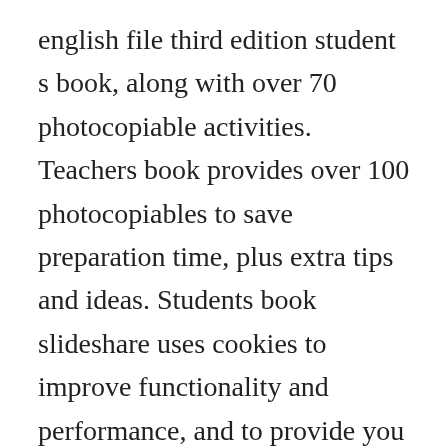english file third edition student s book, along with over 70 photocopiable activities. Teachers book provides over 100 photocopiables to save preparation time, plus extra tips and ideas. Students book slideshare uses cookies to improve functionality and performance, and to provide you with relevant advertising. New english file elementary teachers book with test and. English file third edition offers more support for teachers and students. Get teaching resources for english file to use with your class. New english file,